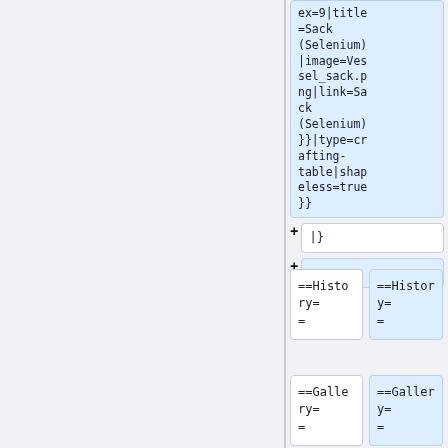ex=9|title=Sack (Selenium)|image=Vessel_sack.png|link=Sack (Selenium)}}|type=crafting-table|shapeless=true}}
+ |}
+
==History==
==History==
==Gallery==
==Gallery==